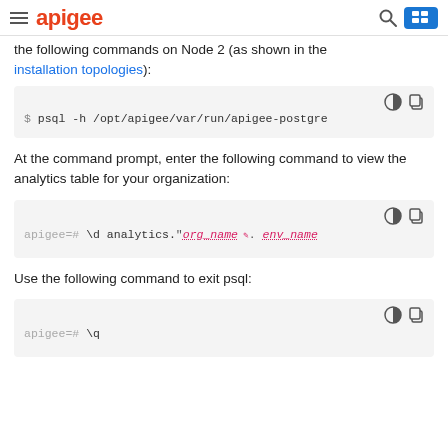apigee
the following commands on Node 2 (as shown in the installation topologies):
[Figure (screenshot): Code block showing: $ psql -h /opt/apigee/var/run/apigee-postgre]
At the command prompt, enter the following command to view the analytics table for your organization:
[Figure (screenshot): Code block showing: apigee=# \d analytics."org_name.env_name]
Use the following command to exit psql:
[Figure (screenshot): Code block showing: apigee=# \q]